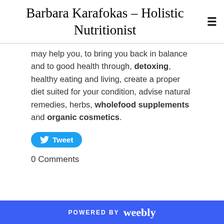Barbara Karafokas – Holistic Nutritionist
may help you, to bring you back in balance and to good health through, detoxing, healthy eating and living, create a proper diet suited for your condition, advise natural remedies, herbs, wholefood supplements and organic cosmetics.
[Figure (other): Blue Twitter Tweet button with bird icon]
0 Comments
POWERED BY weebly